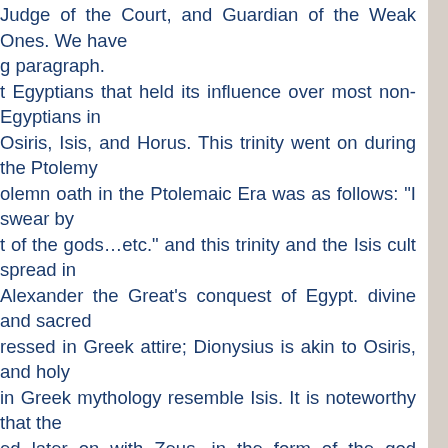Judge of the Court, and Guardian of the Weak Ones. We have g paragraph. t Egyptians that held its influence over most non-Egyptians in Osiris, Isis, and Horus. This trinity went on during the Ptolemy olemn oath in the Ptolemaic Era was as follows: "I swear by t of the gods…etc." and this trinity and the Isis cult spread in Alexander the Great's conquest of Egypt. divine and sacred ressed in Greek attire; Dionysius is akin to Osiris, and holy in Greek mythology resemble Isis. It is noteworthy that the ed later on with Zeus, in the form of the god Serapis, who Egyptian god in Alexandria, along with the Isis cult of worship. reverence in the deep inner recesses of the collective minds of the mother of a god, Horus, and the one who suffered a lot for forces of evil. Isis cult spread in Rome as well and throughout all countries around the Mediterranean sea and the rest of the s and trade routes. Icons and cult of Isis spread very fast that different seas. We remember the famous papyrus discovered El-Minya Governorate, that goes back to the 2nd century A.D.